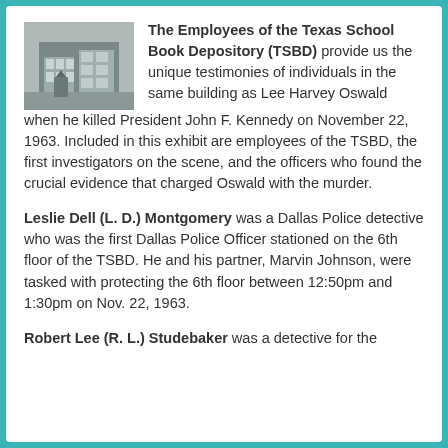[Figure (photo): Black and white photograph of the Texas School Book Depository building exterior]
The Employees of the Texas School Book Depository (TSBD) provide us the unique testimonies of individuals in the same building as Lee Harvey Oswald when he killed President John F. Kennedy on November 22, 1963. Included in this exhibit are employees of the TSBD, the first investigators on the scene, and the officers who found the crucial evidence that charged Oswald with the murder.
Leslie Dell (L. D.) Montgomery was a Dallas Police detective who was the first Dallas Police Officer stationed on the 6th floor of the TSBD. He and his partner, Marvin Johnson, were tasked with protecting the 6th floor between 12:50pm and 1:30pm on Nov. 22, 1963.
Robert Lee (R. L.) Studebaker was a detective for the ...